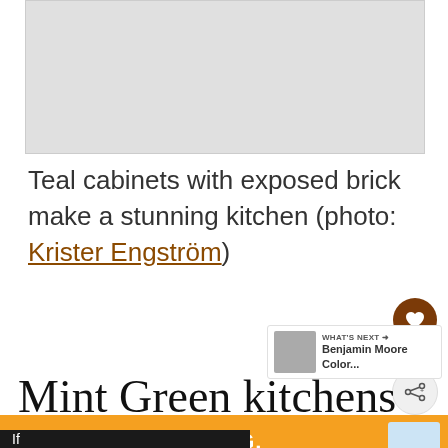[Figure (photo): Top image placeholder - kitchen photo cropped]
Teal cabinets with exposed brick make a stunning kitchen (photo: Krister Engström)
[Figure (other): Heart/like button showing 2.1K likes, and share button]
[Figure (other): WHAT'S NEXT banner with thumbnail and text: Benjamin Moore Color...]
Mint Green kitchens
[Figure (other): Advertisement banner: Hefty Strong, Fabuloso Fresh]
If